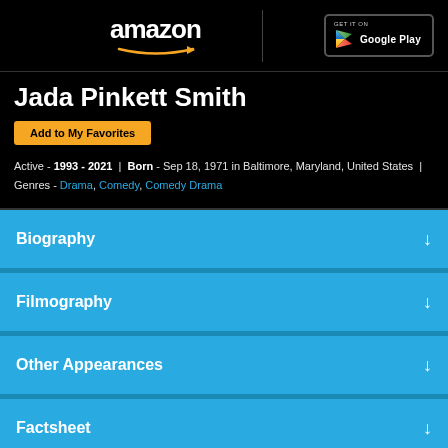amazon | Google Play
Jada Pinkett Smith
Add to My Favorites
Active - 1993 - 2021 | Born - Sep 18, 1971 in Baltimore, Maryland, United States | Genres - Drama, Comedy, Comedy Drama
Biography
Filmography
Other Appearances
Factsheet
Awards